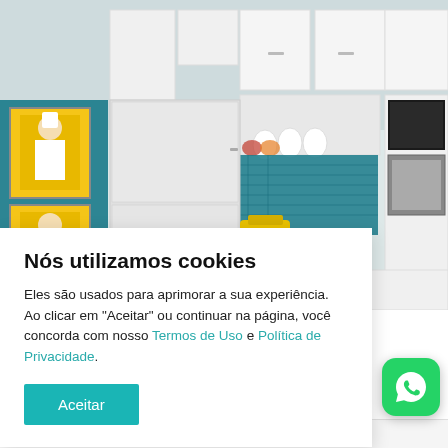[Figure (photo): Kitchen interior photo showing white upper and lower cabinets, a refrigerator, decorative chef artwork tiles on teal wall, kitchen appliances including microwave, and various white dishes on open shelves. Yellow accent items visible on counter.]
Nós utilizamos cookies
Eles são usados para aprimorar a sua experiência. Ao clicar em "Aceitar" ou continuar na página, você concorda com nosso Termos de Uso e Política de Privacidade.
Aceitar
[Figure (logo): WhatsApp green rounded square icon with white phone handset symbol]
Cozinha Grecia SR